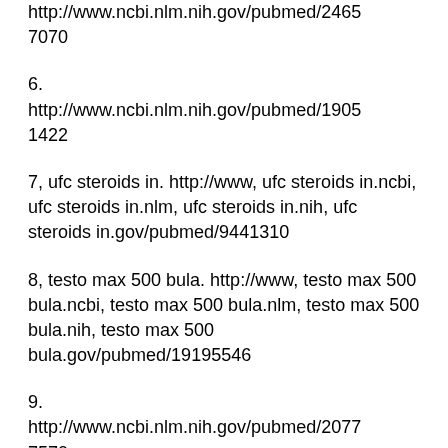http://www.ncbi.nlm.nih.gov/pubmed/24657070
6.
http://www.ncbi.nlm.nih.gov/pubmed/19051422
7, ufc steroids in. http://www, ufc steroids in.ncbi, ufc steroids in.nlm, ufc steroids in.nih, ufc steroids in.gov/pubmed/9441310
8, testo max 500 bula. http://www, testo max 500 bula.ncbi, testo max 500 bula.nlm, testo max 500 bula.nih, testo max 500 bula.gov/pubmed/19195546
9.
http://www.ncbi.nlm.nih.gov/pubmed/20777570
10, testo max male enhancement pills.